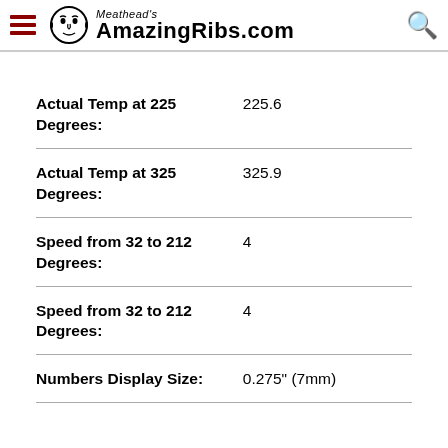Meathead's AmazingRibs.com
| Field | Value |
| --- | --- |
| Actual Temp at 225 Degrees: | 225.6 |
| Actual Temp at 325 Degrees: | 325.9 |
| Speed from 32 to 212 Degrees: | 4 |
| Speed from 32 to 212 Degrees: | 4 |
| Numbers Display Size: | 0.275" (7mm) |